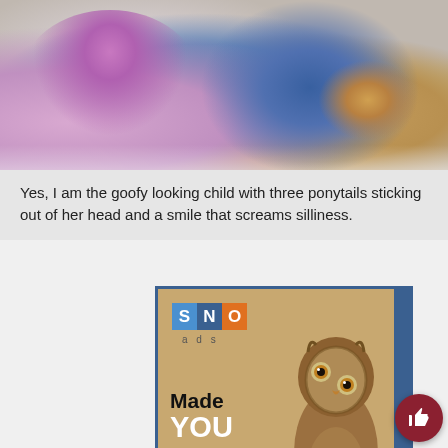[Figure (photo): Photo of children, one wearing a pink outfit with ponytails, visible from shoulders/torso down, sitting or lying on a light-colored surface]
Yes, I am the goofy looking child with three ponytails sticking out of her head and a smile that screams silliness.
[Figure (illustration): SNO Ads advertisement banner with an owl photo. Has S N O logo blocks in blue and orange, 'ads' text below, 'Made YOU LOOK!' text in black and white, an orange 'ADVERTISE HERE' button at the bottom, and a brown owl photograph on the right side of the banner.]